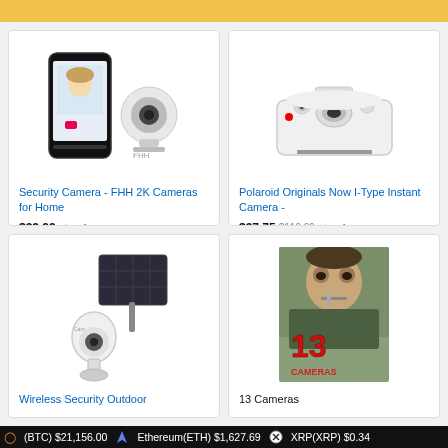Amazon search results - cameras
[Figure (photo): Security camera PTZ device with smartphone showing baby monitor app]
Security Camera - FHH 2K Cameras for Home
$32.99 prime ★★★★☆ (238)
[Figure (photo): Polaroid Originals Now I-Type Instant Camera in white]
Polaroid Originals Now I-Type Instant Camera -
$97.75 $119.99 prime ★★★★☆ (5,385)
[Figure (photo): Wireless outdoor security camera with solar panel]
Wireless Security Outdoor
[Figure (photo): 13 Cameras movie poster showing man biting wire with red 13 Cameras logo]
13 Cameras
(BTC) $21,156.00  Ethereum(ETH) $1,627.69  XRP(XRP) $0.34